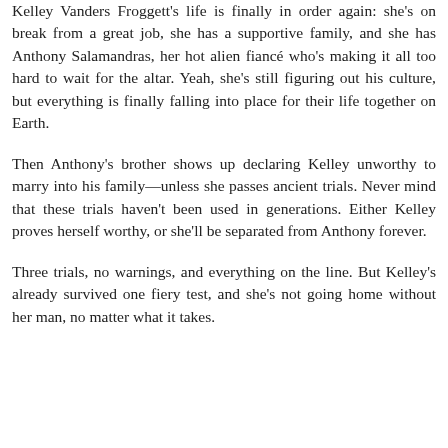Kelley Vanders Froggett's life is finally in order again: she's on break from a great job, she has a supportive family, and she has Anthony Salamandras, her hot alien fiancé who's making it all too hard to wait for the altar. Yeah, she's still figuring out his culture, but everything is finally falling into place for their life together on Earth.
Then Anthony's brother shows up declaring Kelley unworthy to marry into his family—unless she passes ancient trials. Never mind that these trials haven't been used in generations. Either Kelley proves herself worthy, or she'll be separated from Anthony forever.
Three trials, no warnings, and everything on the line. But Kelley's already survived one fiery test, and she's not going home without her man, no matter what it takes.